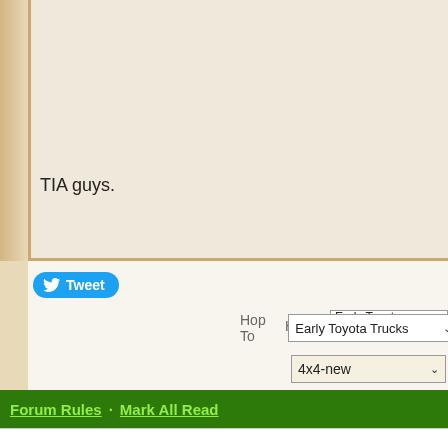TIA guys.
Tweet
Hop To   Early Toyota Trucks
4x4-new
Forum Rules · Mark All Read
[Figure (infographic): Share the knowledge! social sharing icons for Facebook, Twitter, Pinterest, LinkedIn, and Email with a decorative arrow and cursive text]
[Figure (infographic): Scroll to top button with upward chevron arrow]